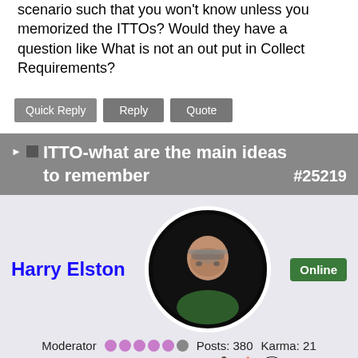scenario such that you won't know unless you memorized the ITTOs? Would they have a question like What is not an out put in Collect Requirements?
Quick Reply  Reply  Quote
ITTO-what are the main ideas to remember #25219
Harry Elston  Online  Moderator  Posts: 380  Karma: 21  Thank you received: 125